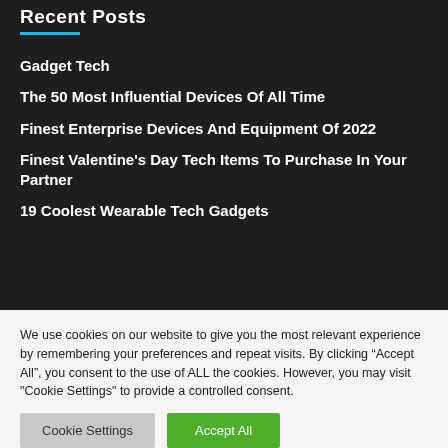Recent Posts
Gadget Tech
The 50 Most Influential Devices Of All Time
Finest Enterprise Devices And Equipment Of 2022
Finest Valentine's Day Tech Items To Purchase In Your Partner
19 Coolest Wearable Tech Gadgets
We use cookies on our website to give you the most relevant experience by remembering your preferences and repeat visits. By clicking "Accept All", you consent to the use of ALL the cookies. However, you may visit "Cookie Settings" to provide a controlled consent.